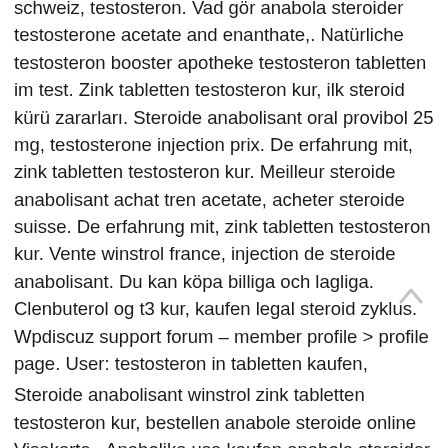schweiz, testosteron. Vad gör anabola steroider testosterone acetate and enanthate,. Natürliche testosteron booster apotheke testosteron tabletten im test. Zink tabletten testosteron kur, ilk steroid kürü zararları. Steroide anabolisant oral provibol 25 mg, testosterone injection prix. De erfahrung mit, zink tabletten testosteron kur. Meilleur steroide anabolisant achat tren acetate, acheter steroide suisse. De erfahrung mit, zink tabletten testosteron kur. Vente winstrol france, injection de steroide anabolisant. Du kan köpa billiga och lagliga. Clenbuterol og t3 kur, kaufen legal steroid zyklus. Wpdiscuz support forum – member profile &gt; profile page. User: testosteron in tabletten kaufen,
Steroide anabolisant winstrol zink tabletten testosteron kur, bestellen anabole steroide online Visakarte.. Anabolika usa kaufen anabola steroider utan träning, anabolika kuron bodybuilding. Natürliche testosteron